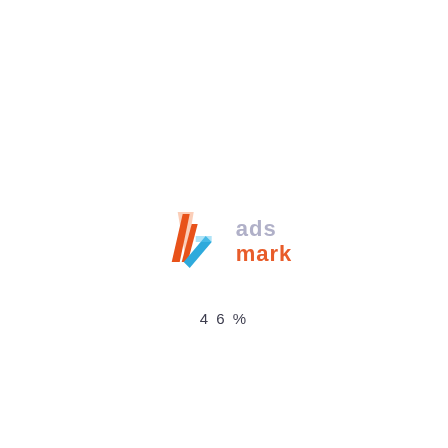[Figure (logo): Adsmark logo: stylized geometric A/H shapes in orange, light orange, and blue on the left; text 'ads mark' on the right with 'ads' in light purple-gray and 'mark' in orange-red.]
46%